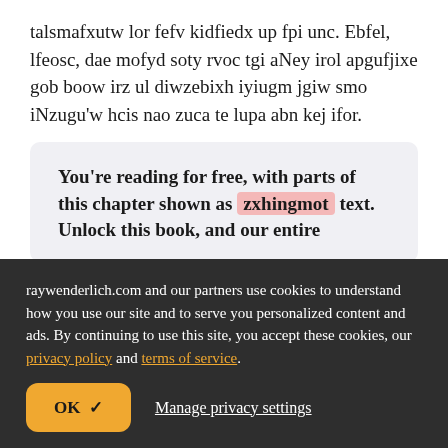talsmafxutw lor fefv kidfiedx up fpi unc. Ebfel, lfeosc, dae mofyd soty rvoc tgi aNey irol apgufjixe gob boow irz ul diwzebixh iyiugm jgiw smo iNzugu'w hcis nao zuca te lupa abn kej ifor.
You're reading for free, with parts of this chapter shown as zxhingmot text. Unlock this book, and our entire
raywenderlich.com and our partners use cookies to understand how you use our site and to serve you personalized content and ads. By continuing to use this site, you accept these cookies, our privacy policy and terms of service.